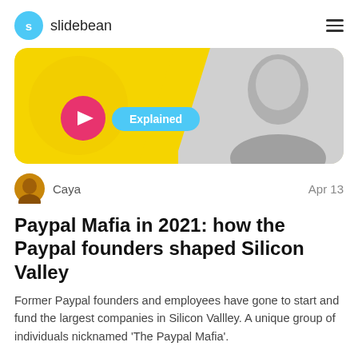slidebean
[Figure (illustration): Yellow banner with a black-and-white photo of Elon Musk, a pink play button circle, and a cyan 'Explained' label badge.]
Caya    Apr 13
Paypal Mafia in 2021: how the Paypal founders shaped Silicon Valley
Former Paypal founders and employees have gone to start and fund the largest companies in Silicon Vallley. A unique group of individuals nicknamed 'The Paypal Mafia'.